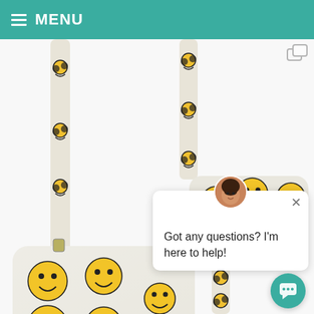MENU
[Figure (photo): Two beaded crossbody purses with smiley face patterns on a beaded strap, displayed on a white background. The bags are silver/white with yellow smiley face beaded embellishments.]
Got any questions? I'm here to help!